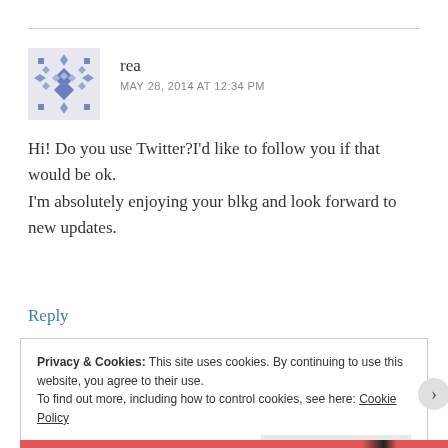rea
MAY 28, 2014 AT 12:34 PM
Hi! Do you use Twitter?I'd like to follow you if that would be ok.
I'm absolutely enjoying your blkg and look forward to new updates.
Reply
Privacy & Cookies: This site uses cookies. By continuing to use this website, you agree to their use.
To find out more, including how to control cookies, see here: Cookie Policy
Close and accept